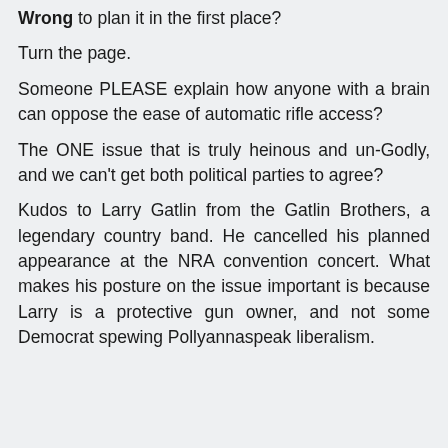Wrong to plan it in the first place?
Turn the page.
Someone PLEASE explain how anyone with a brain can oppose the ease of automatic rifle access?
The ONE issue that is truly heinous and un-Godly, and we can't get both political parties to agree?
Kudos to Larry Gatlin from the Gatlin Brothers, a legendary country band. He cancelled his planned appearance at the NRA convention concert. What makes his posture on the issue important is because Larry is a protective gun owner, and not some Democrat spewing Pollyannaspeak liberalism.